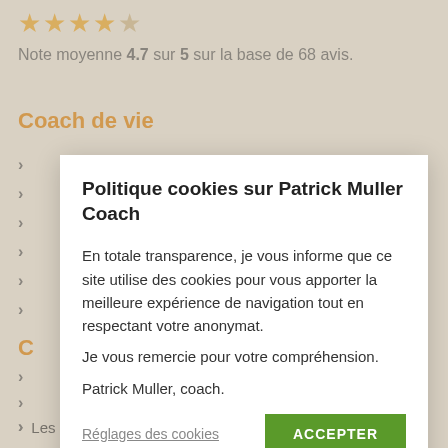★★★★☆
Note moyenne 4.7 sur 5 sur la base de 68 avis.
Coach de vie
›
›
›
›
›
›
C…
›
›
›
Politique cookies sur Patrick Muller Coach
En totale transparence, je vous informe que ce site utilise des cookies pour vous apporter la meilleure expérience de navigation tout en respectant votre anonymat.
Je vous remercie pour votre compréhension.
Patrick Muller, coach.
Réglages des cookies
ACCEPTER
› Les séminaires en vidéo